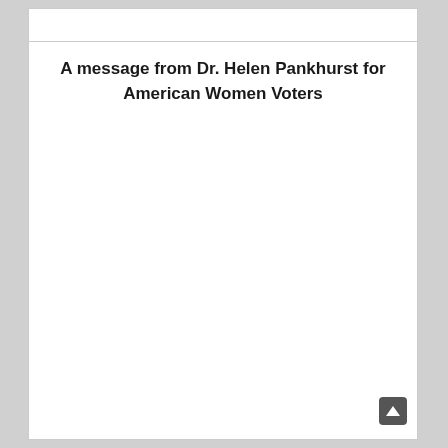A message from Dr. Helen Pankhurst for American Women Voters